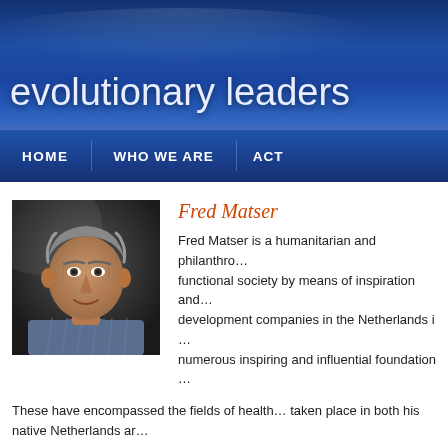evolutionary leaders
HOME | WHO WE ARE | ACT
[Figure (photo): Portrait photo of Fred Matser, a middle-aged man with gray hair wearing a plaid shirt, photographed against a dark background.]
Fred Matser
Fred Matser is a humanitarian and philanthropo... functional society by means of inspiration and... development companies in the Netherlands i... numerous inspiring and influential foundation...
These have encompassed the fields of health... taken place in both his native Netherlands ar... Federation of Red Cross and Red Crescent Societies, Peace Flame... (WWW.FREDFOUNDATION.ORG). Fred has also participated in se... Forum and the Commission on Globalisation.